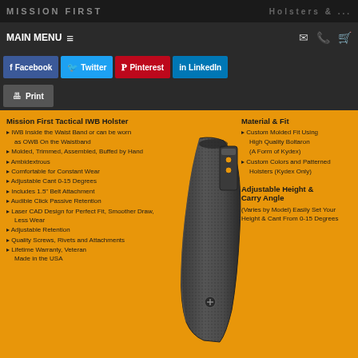MAIN MENU
Facebook
Twitter
Pinterest
LinkedIn
Print
Mission First Tactical IWB Holster
IWB Inside the Waist Band or can be worn as OWB On the Waistband
Molded, Trimmed, Assembled, Buffed by Hand
Ambidextrous
Comfortable for Constant Wear
Adjustable Cant 0-15 Degrees
Includes 1.5" Belt Attachment
Audible Click Passive Retention
Laser CAD Design for Perfect Fit, Smoother Draw, Less Wear
Adjustable Retention
Quality Screws, Rivets and Attachments
Lifetime Warranty, Veteran Made in the USA
[Figure (photo): Black Mission First Tactical IWB holster shown diagonally]
Material & Fit
Custom Molded Fit Using High Quality Boltaron (A Form of Kydex)
Custom Colors and Patterned Holsters (Kydex Only)
Adjustable Height & Carry Angle
(Varies by Model) Easily Set Your Height & Cant From 0-15 Degrees